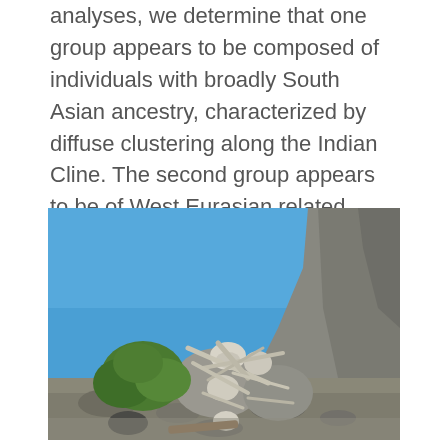analyses, we determine that one group appears to be composed of individuals with broadly South Asian ancestry, characterized by diffuse clustering along the Indian Cline. The second group appears to be of West Eurasian related ancestry, showing affinities with both Greek and Levantine populations.
[Figure (photo): Outdoor photograph showing a pile of bones and skulls arranged among large rocks, with green shrubs on the left side and a rocky mountain slope on the right, under a clear blue sky.]